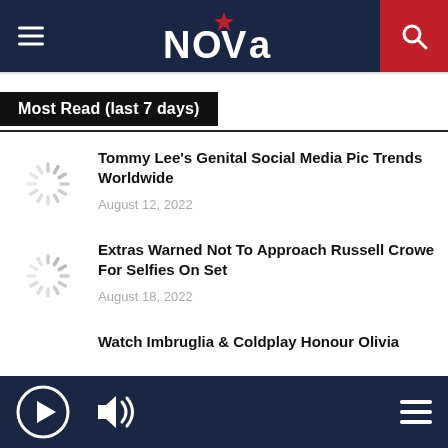NOVA
Most Read (last 7 days)
[Figure (other): Loading spinner thumbnail for article 1]
Tommy Lee’s Genital Social Media Pic Trends Worldwide
August 12, 2022
[Figure (other): Loading spinner thumbnail for article 2]
Extras Warned Not To Approach Russell Crowe For Selfies On Set
August 18, 2022
Watch Imbruglia & Coldplay Honour Olivia
Play | Volume | Menu